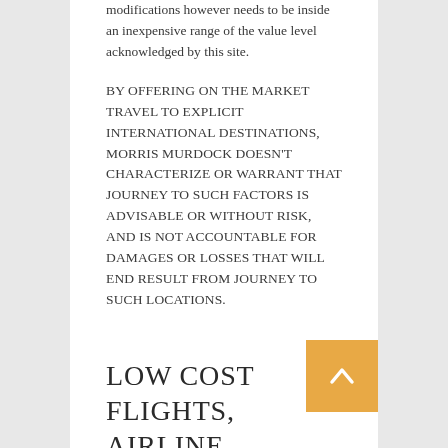modifications however needs to be inside an inexpensive range of the value level acknowledged by this site.
BY OFFERING ON THE MARKET TRAVEL TO EXPLICIT INTERNATIONAL DESTINATIONS, MORRIS MURDOCK DOESN'T CHARACTERIZE OR WARRANT THAT JOURNEY TO SUCH FACTORS IS ADVISABLE OR WITHOUT RISK, AND IS NOT ACCOUNTABLE FOR DAMAGES OR LOSSES THAT WILL END RESULT FROM JOURNEY TO SUCH LOCATIONS.
...
LOW COST FLIGHTS, AIRLINE TICKETS &